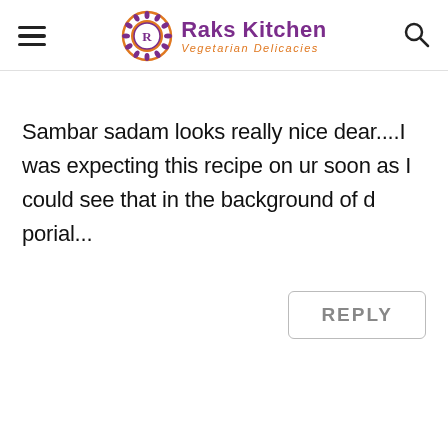Raks Kitchen Vegetarian Delicacies
Sambar sadam looks really nice dear....I was expecting this recipe on ur soon as I could see that in the background of d porial...
REPLY